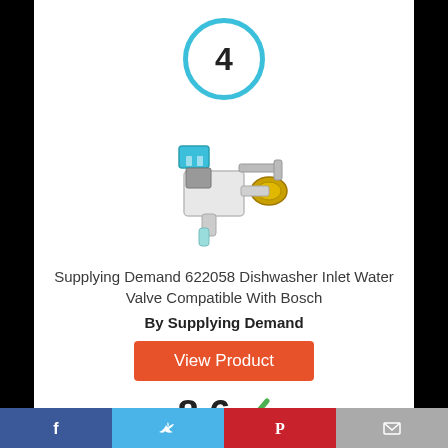[Figure (other): Rank number 4 inside a teal/cyan circle]
[Figure (photo): Dishwasher inlet water valve product photo - white plastic valve with teal electrical connector and brass fittings]
Supplying Demand 622058 Dishwasher Inlet Water Valve Compatible With Bosch
By Supplying Demand
View Product
8.6
[Figure (illustration): Social media bar: Facebook, Twitter, Pinterest, Email icons]